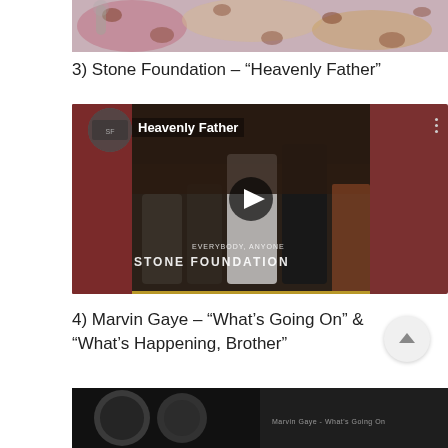[Figure (photo): Partial top image showing colorful leopard-print fabric or clothing, cropped at top of page]
3) Stone Foundation – “Heavenly Father”
[Figure (screenshot): YouTube embedded video player showing Stone Foundation 'Heavenly Father' music video, with dark reddish-brown background, band members visible, play button in center, 'STONE FOUNDATION' and 'EVERYBODY, ANYONE' text overlay]
4) Marvin Gaye – “What’s Going On” & “What’s Happening, Brother”
[Figure (photo): Partial bottom image showing dark background with circular shapes, partially cropped, appears to be Marvin Gaye video thumbnail]